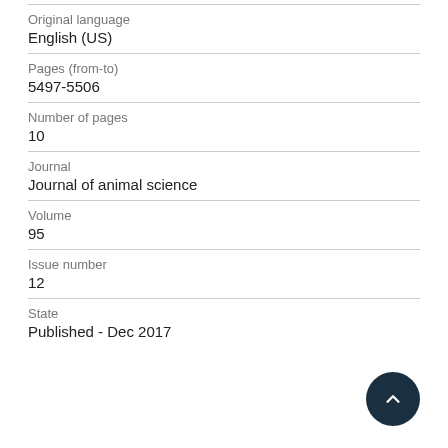Original language
English (US)
Pages (from-to)
5497-5506
Number of pages
10
Journal
Journal of animal science
Volume
95
Issue number
12
State
Published - Dec 2017